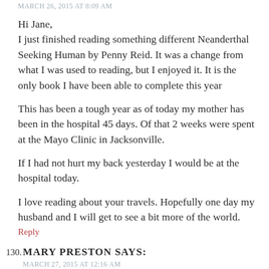MARCH 26, 2015 AT 8:09 AM
Hi Jane,
I just finished reading something different Neanderthal Seeking Human by Penny Reid. It was a change from what I was used to reading, but I enjoyed it. It is the only book I have been able to complete this year
This has been a tough year as of today my mother has been in the hospital 45 days. Of that 2 weeks were spent at the Mayo Clinic in Jacksonville.
If I had not hurt my back yesterday I would be at the hospital today.
I love reading about your travels. Hopefully one day my husband and I will get to see a bit more of the world.
Reply
130. MARY PRESTON SAYS:
MARCH 27, 2015 AT 12:16 AM